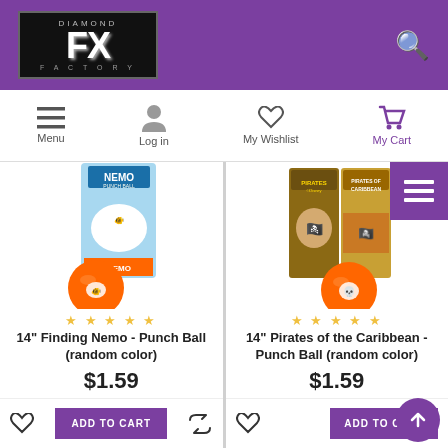Diamond FX Logo header with search icon
[Figure (screenshot): Diamond FX logo on purple header with search icon]
[Figure (screenshot): Navigation bar with Menu, Log in, My Wishlist, My Cart icons]
[Figure (photo): 14 inch Finding Nemo Punch Ball product image - orange punch ball with Finding Nemo packaging]
☆ ☆ ☆ ☆ ☆
14" Finding Nemo - Punch Ball (random color)
$1.59
[Figure (photo): 14 inch Pirates of the Caribbean Punch Ball product image - orange punch ball with Pirates of the Caribbean packaging]
☆ ☆ ☆ ☆ ☆
14" Pirates of the Caribbean - Punch Ball (random color)
$1.59